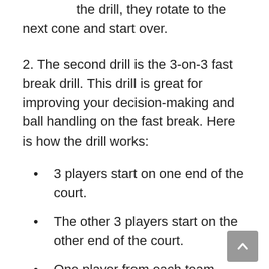After all 4 players have gone through the drill, they rotate to the next cone and start over.
2. The second drill is the 3-on-3 fast break drill. This drill is great for improving your decision-making and ball handling on the fast break. Here is how the drill works:
3 players start on one end of the court.
The other 3 players start on the other end of the court.
One player from each team starts with the ball.